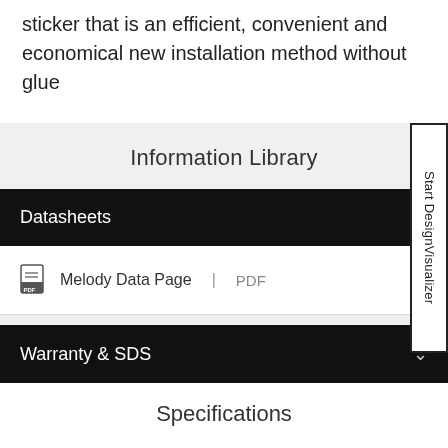sticker that is an efficient, convenient and economical new installation method without glue
Information Library
Datasheets
Melody Data Page | PDF
Warranty & SDS
Start DesignVisualizer
Specifications